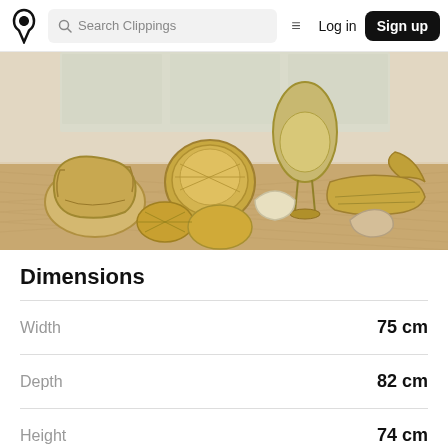Search Clippings | Log in | Sign up
[Figure (photo): A showroom displaying multiple rattan/wicker furniture pieces including chairs, stools, and loungers on a herringbone parquet floor with large windows in the background.]
Dimensions
| Attribute | Value |
| --- | --- |
| Width | 75 cm |
| Depth | 82 cm |
| Height | 74 cm |